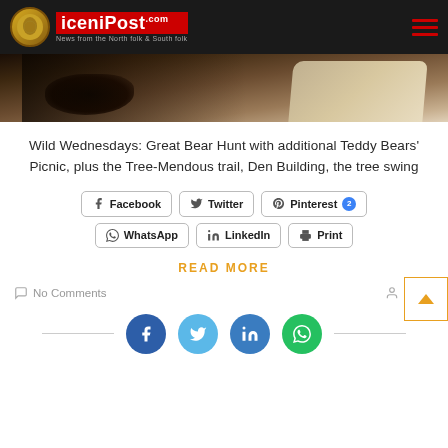iceniPost — News from the North folk & South folk
[Figure (photo): Partial hero image showing a bear or animal in a forest/muddy outdoor setting]
Wild Wednesdays: Great Bear Hunt with additional Teddy Bears' Picnic, plus the Tree-Mendous trail, Den Building, the tree swing
Facebook  Twitter  Pinterest 2  WhatsApp  LinkedIn  Print
READ MORE
No Comments  Editor